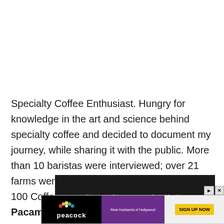Specialty Coffee Enthusiast. Hungry for knowledge in the art and science behind specialty coffee and decided to document my journey, while sharing it with the public. More than 10 baristas were interviewed; over 21 farms were visited across 5 countries. Almost 100 Coffee Shops. Bean of choice: Pacamara. Preferred coffee country: Panama. Preferred Brewing Method:
[Figure (screenshot): Video player overlay showing 'No compatible source was found for this movie.' message on dark background]
[Figure (screenshot): Peacock streaming service advertisement banner with logo, Real Husbands of Hollywood image, and SIGN UP NOW button]